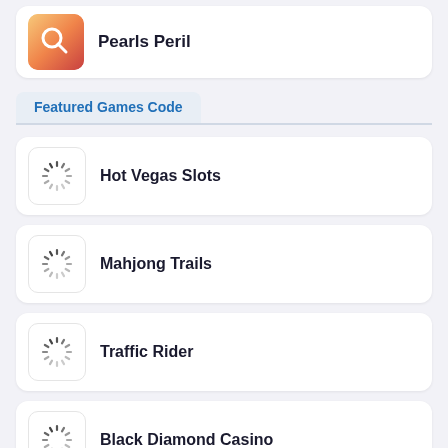Pearls Peril
Featured Games Code
Hot Vegas Slots
Mahjong Trails
Traffic Rider
Black Diamond Casino